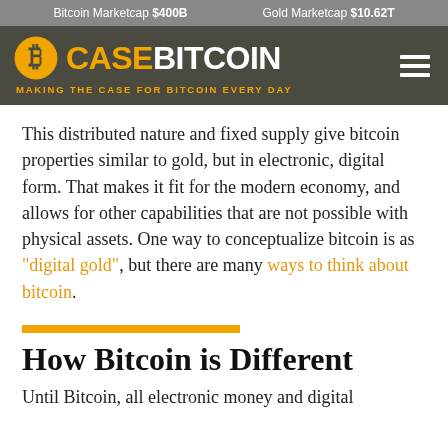Bitcoin Marketcap $400B    Gold Marketcap $10.62T
[Figure (logo): CaseBitcoin logo with Bitcoin circle icon in orange, 'CASE' in orange and 'BITCOIN' in white on dark olive background, tagline 'MAKING THE CASE FOR BITCOIN EVERY DAY' in orange below, hamburger menu icon on right]
This distributed nature and fixed supply give bitcoin properties similar to gold, but in electronic, digital form. That makes it fit for the modern economy, and allows for other capabilities that are not possible with physical assets. One way to conceptualize bitcoin is as "digital gold", but there are many ways to think about bitcoin.
How Bitcoin is Different
Until Bitcoin, all electronic money and digital